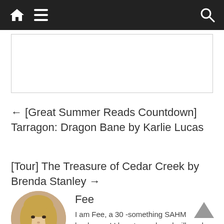Navigation bar with home, menu, and search icons
[Figure (other): Advertisement placeholder box]
← [Great Summer Reads Countdown] Tarragon: Dragon Bane by Karlie Lucas
[Tour] The Treasure of Cedar Creek by Brenda Stanley →
[Figure (photo): Circular portrait photo of a blonde woman named Fee]
Fee
I am Fee, a 30 -something SAHM bookworm! I love to read, and will read almost anything and